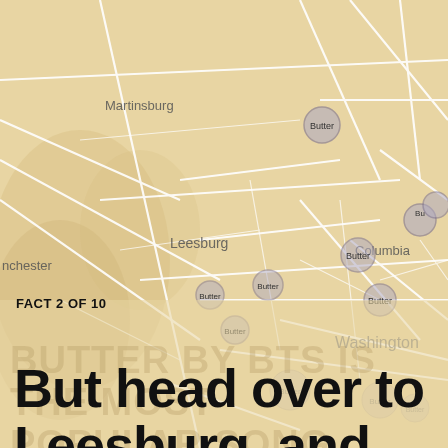[Figure (map): A map of the Washington DC / Virginia / Maryland region with a tan/beige background and white road lines. Multiple circular markers labeled 'Butter' are placed at various locations including near Leesburg, along roads toward Washington DC, near Columbia, and in the northern area. City labels include Martinsburg, Leesburg, Washington, Columbia, and Winchester (partial). The map shows a dense cluster of Butter markers near the DC area and Columbia.]
FACT 2 OF 10
BUTTER BY BTS IS THE MOST POPULAR SONG
But head over to Leesburg, and